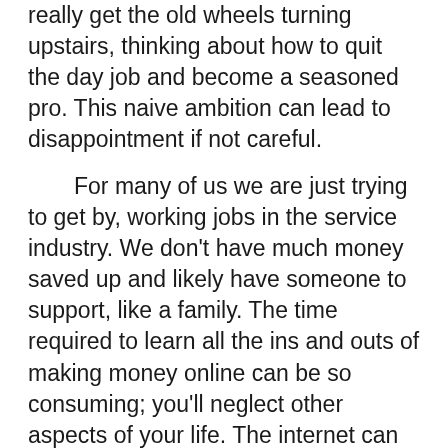really get the old wheels turning upstairs, thinking about how to quit the day job and become a seasoned pro. This naive ambition can lead to disappointment if not careful.
For many of us we are just trying to get by, working jobs in the service industry. We don't have much money saved up and likely have someone to support, like a family. The time required to learn all the ins and outs of making money online can be so consuming; you'll neglect other aspects of your life. The internet can be a dangerous distraction from the ones you love, and even house repairs.
So first of all, don't proceed with blind ambition thinking you will beat the system and make enough money to support your family in a month. The likely-hood of a beginner to the internet making money is more of a slow progressive achievement. More like six months before seeing a significant amount of money with hard work. For some people who are single and don't have to work much outside of their efforts online, this can really be great.